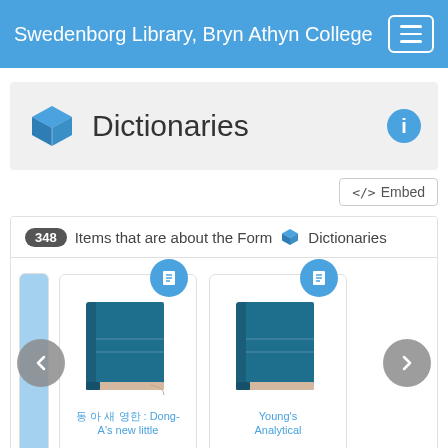Swedenborg Library, Bryn Athyn College
Dictionaries
348 Items that are about the Form Dictionaries
[Figure (screenshot): Book card: Korean dictionary - Dong-A's new little]
[Figure (screenshot): Book card: Young's Analytical]
</>  Embed